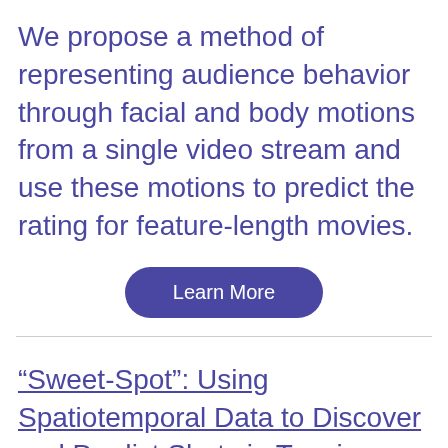We propose a method of representing audience behavior through facial and body motions from a single video stream and use these motions to predict the rating for feature-length movies.
[Figure (other): A rounded pill-shaped button with dark purple background and white text reading 'Learn More']
“Sweet-Spot”: Using Spatiotemporal Data to Discover and Predict Shots in Tennis
In this paper, we present a study on...